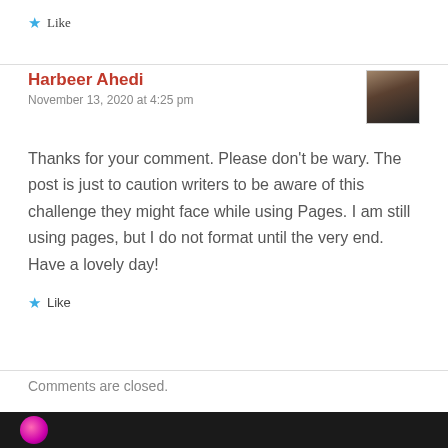★ Like
Harbeer Ahedi
November 13, 2020 at 4:25 pm
Thanks for your comment. Please don't be wary. The post is just to caution writers to be aware of this challenge they might face while using Pages. I am still using pages, but I do not format until the very end. Have a lovely day!
★ Like
Comments are closed.